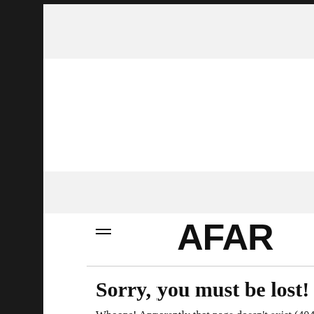AFAR
Sorry, you must be lost!
Whoops! Apparently that page doesn't exist (404 erro... our homepage or recent articles instead.